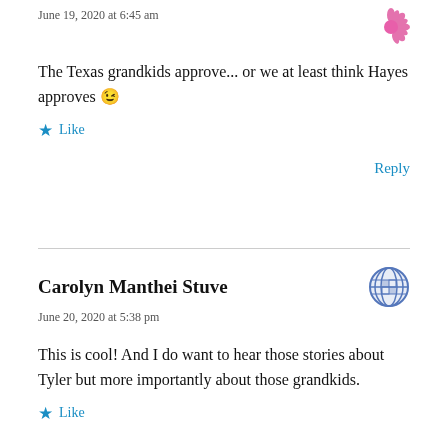June 19, 2020 at 6:45 am
The Texas grandkids approve... or we at least think Hayes approves 😉
Like
Reply
Carolyn Manthei Stuve
June 20, 2020 at 5:38 pm
This is cool! And I do want to hear those stories about Tyler but more importantly about those grandkids.
Like